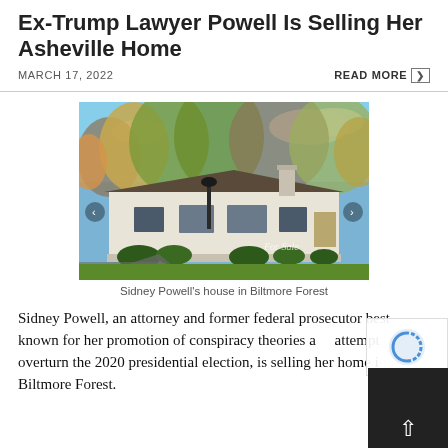Ex-Trump Lawyer Powell Is Selling Her Asheville Home
MARCH 17, 2022
READ MORE
[Figure (photo): Exterior photo of Sidney Powell's house in Biltmore Forest, a single-story ranch-style home with white/cream stucco exterior, brown roof, surrounded by trees with fall foliage, green lawn, and a driveway. A 'For Sale' watermark appears in the lower right.]
Sidney Powell's house in Biltmore Forest
Sidney Powell, an attorney and former federal prosecutor best known for her promotion of conspiracy theories and attempts to overturn the 2020 presidential election, is selling her home in Biltmore Forest.